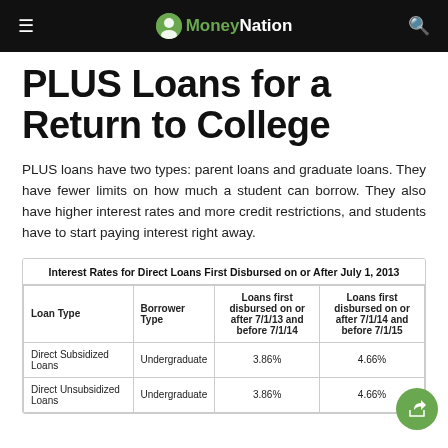MoneyNation
PLUS Loans for a Return to College
PLUS loans have two types: parent loans and graduate loans. They have fewer limits on how much a student can borrow. They also have higher interest rates and more credit restrictions, and students have to start paying interest right away.
| Loan Type | Borrower Type | Loans first disbursed on or after 7/1/13 and before 7/1/14 | Loans first disbursed on or after 7/1/14 and before 7/1/15 |
| --- | --- | --- | --- |
| Direct Subsidized Loans | Undergraduate | 3.86% | 4.66% |
| Direct Unsubsidized Loans | Undergraduate | 3.86% | 4.66% |